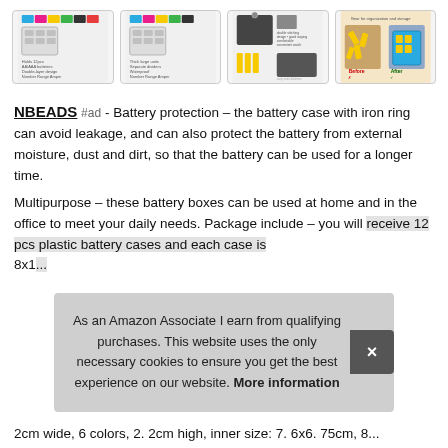[Figure (photo): Four product thumbnail images showing battery storage cases in various colors and configurations, including before/after storage organization comparison]
NBEADS #ad - Battery protection – the battery case with iron ring can avoid leakage, and can also protect the battery from external moisture, dust and dirt, so that the battery can be used for a longer time.
Multipurpose – these battery boxes can be used at home and in the office to meet your daily needs. Package include – you will receive 12 pcs plastic battery cases and each case is 8x1...
As an Amazon Associate I earn from qualifying purchases. This website uses the only necessary cookies to ensure you get the best experience on our website. More information
2cm wide, 6 colors, 2. 2cm high, inner size: 7. 6x6. 75cm, 8...